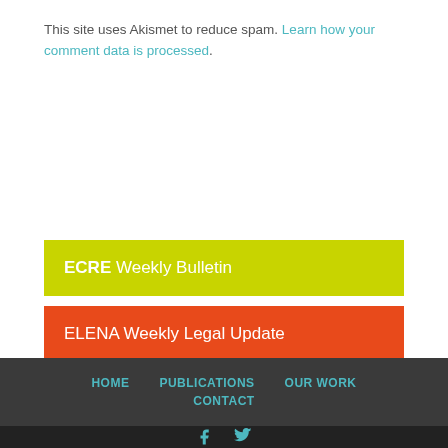This site uses Akismet to reduce spam. Learn how your comment data is processed.
ECRE Weekly Bulletin
ELENA Weekly Legal Update
Subscribe Now
HOME   PUBLICATIONS   OUR WORK   CONTACT